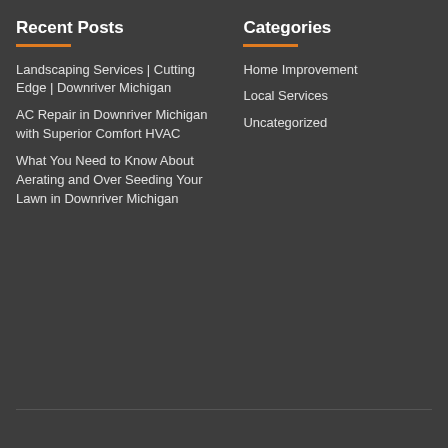Recent Posts
Landscaping Services | Cutting Edge | Downriver Michigan
AC Repair in Downriver Michigan with Superior Comfort HVAC
What You Need to Know About Aerating and Over Seeding Your Lawn in Downriver Michigan
Categories
Home Improvement
Local Services
Uncategorized